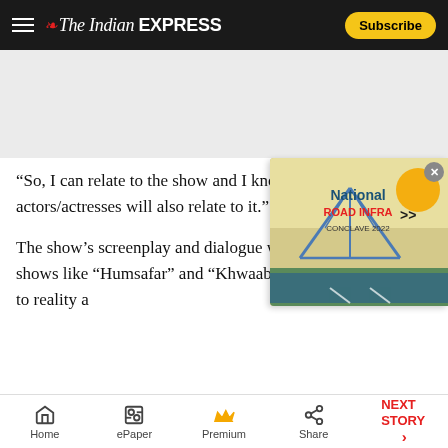The Indian EXPRESS — Subscribe
[Figure (other): Gray advertisement banner placeholder]
“So, I can relate to the show and I know a lot of aspiring actors/actresses will also relate to it.”
The show’s screenplay and dialogue writer influenced by shows like “Humsafar” and “Khwaabon Ki Zamin Par” true to reality a
[Figure (other): National Road Infra Conclave 2022 advertisement overlay with bridge and road imagery]
“Agar Tum Saath Ho” is another upcoming production, which is a love story between a girl from an affluent Delhi
Home | ePaper | Premium | Share | NEXT STORY